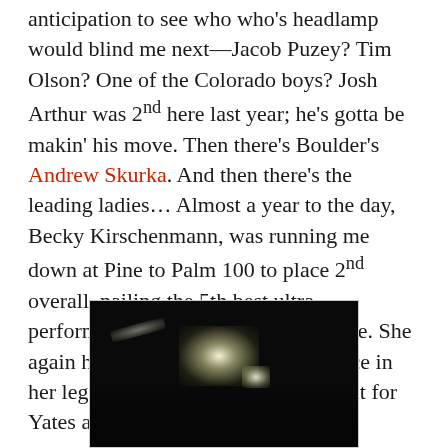anticipation to see who who's headlamp would blind me next—Jacob Puzey? Tim Olson? One of the Colorado boys? Josh Arthur was 2nd here last year; he's gotta be makin' his move. Then there's Boulder's Andrew Skurka. And then there's the leading ladies… Almost a year to the day, Becky Kirschenmann, was running me down at Pine to Palm 100 to place 2nd overall, nailing the 5th best ultra performance of the year from a female. She again has her TransRockies experience in her legs. And I gotta be on the lookout for Yates and Kimball…
[Figure (photo): Night time trail running photo showing headlamp light glowing in the dark, with faint light trails and silhouetted terrain at the bottom.]